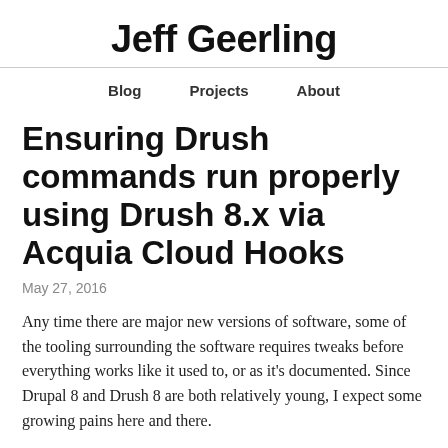Jeff Geerling
Blog   Projects   About
Ensuring Drush commands run properly using Drush 8.x via Acquia Cloud Hooks
May 27, 2016
Any time there are major new versions of software, some of the tooling surrounding the software requires tweaks before everything works like it used to, or as it's documented. Since Drupal 8 and Drush 8 are both relatively young, I expect some growing pains here and there.